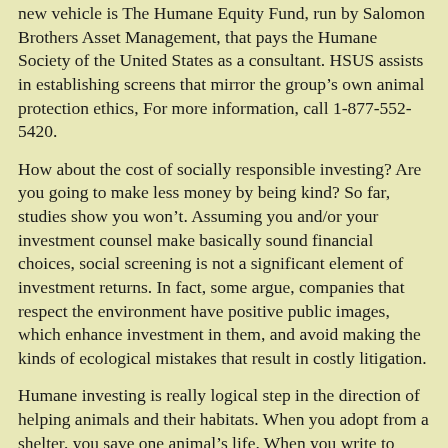( … ) new vehicle is The Humane Equity Fund, run by Salomon Brothers Asset Management, that pays the Humane Society of the United States as a consultant. HSUS assists in establishing screens that mirror the group’s own animal protection ethics, For more information, call 1-877-552-5420.
How about the cost of socially responsible investing? Are you going to make less money by being kind? So far, studies show you won’t. Assuming you and/or your investment counsel make basically sound financial choices, social screening is not a significant element of investment returns. In fact, some argue, companies that respect the environment have positive public images, which enhance investment in them, and avoid making the kinds of ecological mistakes that result in costly litigation.
Humane investing is really logical step in the direction of helping animals and their habitats. When you adopt from a shelter, you save one animal’s life. When you write to your state representatives or Congressmen about animal-related legislation, you help a particular group of animals. When you invest wisely, using animal-friendly criteria, the most immediate beneficiary will be yourself. But the benefits will be psychic as well as monetary, because you know that your dollars will not be promoting animal suffering on a widespread basis, just as you are free to spend some of that investment income helping animals close to your home and